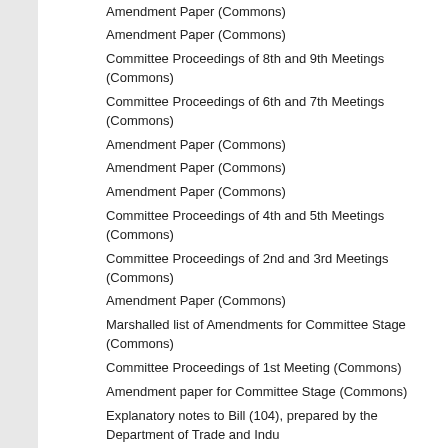Amendment Paper (Commons)
Amendment Paper (Commons)
Committee Proceedings of 8th and 9th Meetings (Commons)
Committee Proceedings of 6th and 7th Meetings (Commons)
Amendment Paper (Commons)
Amendment Paper (Commons)
Amendment Paper (Commons)
Committee Proceedings of 4th and 5th Meetings (Commons)
Committee Proceedings of 2nd and 3rd Meetings (Commons)
Amendment Paper (Commons)
Marshalled list of Amendments for Committee Stage (Commons)
Committee Proceedings of 1st Meeting (Commons)
Amendment paper for Committee Stage (Commons)
Explanatory notes to Bill (104), prepared by the Department of Trade and Indu
Bill as brought from the Lords and ordered to be printed in the Commons
Bill as Introduced (Lords)